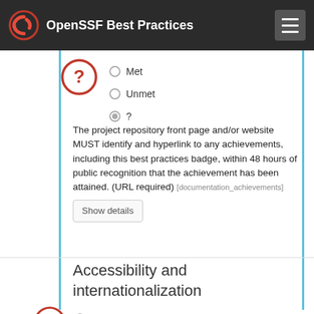OpenSSF Best Practices
Met
Unmet
?
The project repository front page and/or website MUST identify and hyperlink to any achievements, including this best practices badge, within 48 hours of public recognition that the achievement has been attained. (URL required) [documentation_achievements]
Accessibility and internationalization
Met